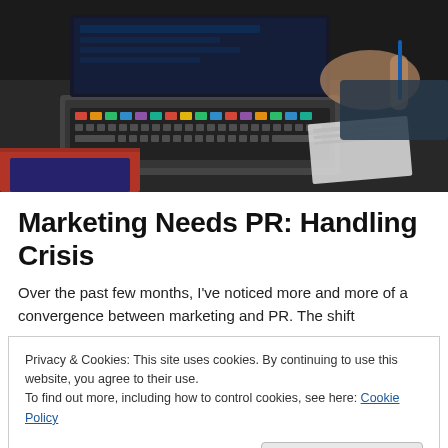[Figure (photo): Person working at a laptop on a dark desk, with colorful keyboard lighting visible, and papers/documents nearby. Dark, moody office atmosphere.]
Marketing Needs PR: Handling Crisis
Over the past few months, I've noticed more and more of a convergence between marketing and PR. The shift
Privacy & Cookies: This site uses cookies. By continuing to use this website, you agree to their use.
To find out more, including how to control cookies, see here: Cookie Policy
Close and accept